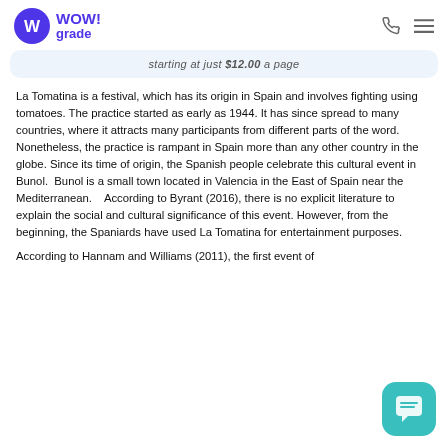WOW! grade
starting at just $12.00 a page
La Tomatina is a festival, which has its origin in Spain and involves fighting using tomatoes. The practice started as early as 1944. It has since spread to many countries, where it attracts many participants from different parts of the word. Nonetheless, the practice is rampant in Spain more than any other country in the globe. Since its time of origin, the Spanish people celebrate this cultural event in Bunol.  Bunol is a small town located in Valencia in the East of Spain near the Mediterranean.   According to Byrant (2016), there is no explicit literature to explain the social and cultural significance of this event. However, from the beginning, the Spaniards have used La Tomatina for entertainment purposes.
According to Hannam and Williams (2011), the first event of